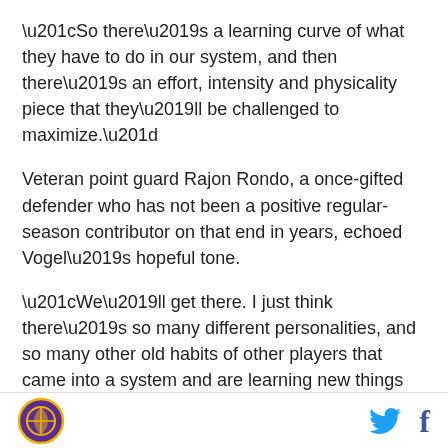“So there’s a learning curve of what they have to do in our system, and then there’s an effort, intensity and physicality piece that they’ll be challenged to maximize.”
Veteran point guard Rajon Rondo, a once-gifted defender who has not been a positive regular-season contributor on that end in years, echoed Vogel’s hopeful tone.
“We’ll get there. I just think there’s so many different personalities, and so many other old habits of other players that came into a system and are learning new things and new ways. When you’ve had a habit your entire career, it’s hard to break those habits overnight,”